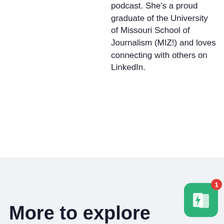podcast. She's a proud graduate of the University of Missouri School of Journalism (MIZ!) and loves connecting with others on LinkedIn.
More to explore
[Figure (screenshot): Green app icon with white lightning bolt and card/bookmark symbol, with a red notification badge showing the number 1]